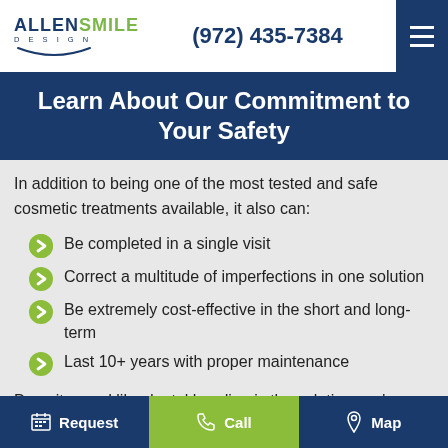ALLEN SMILE DESIGN — (972) 435-7384
Learn About Our Commitment to Your Safety
In addition to being one of the most tested and safe cosmetic treatments available, it also can:
Be completed in a single visit
Correct a multitude of imperfections in one solution
Be extremely cost-effective in the short and long-term
Last 10+ years with proper maintenance
Does it sound like dental bonding is the solution you've
Request   Call   Map